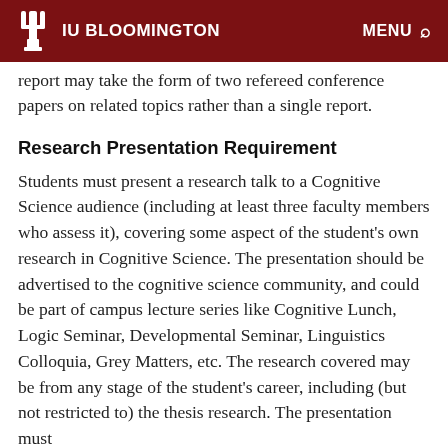IU BLOOMINGTON  MENU
report may take the form of two refereed conference papers on related topics rather than a single report.
Research Presentation Requirement
Students must present a research talk to a Cognitive Science audience (including at least three faculty members who assess it), covering some aspect of the student’s own research in Cognitive Science. The presentation should be advertised to the cognitive science community, and could be part of campus lecture series like Cognitive Lunch, Logic Seminar, Developmental Seminar, Linguistics Colloquia, Grey Matters, etc. The research covered may be from any stage of the student’s career, including (but not restricted to) the thesis research. The presentation must